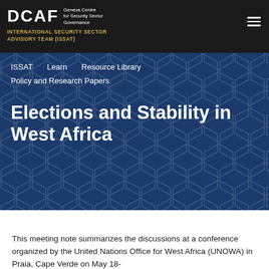DCAF Geneva Centre for Security Sector Governance — INTERNATIONAL SECURITY SECTOR ADVISORY TEAM (ISSAT)
ISSAT   Learn   Resource Library   Policy and Research Papers
Elections and Stability in West Africa
This meeting note summarizes the discussions at a conference organized by the United Nations Office for West Africa (UNOWA) in Praia, Cape Verde on May 18-